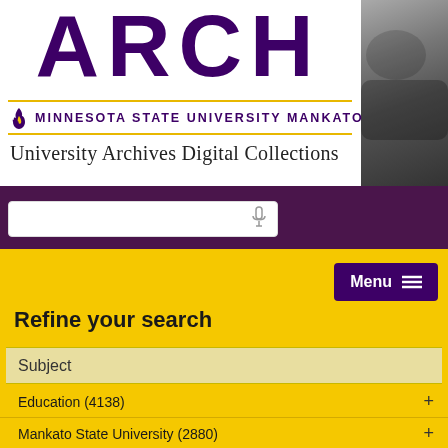ARCH
[Figure (logo): Minnesota State University Mankato logo with flame icon and university name in purple small-caps text, with gold horizontal rules above and below]
University Archives Digital Collections
[Figure (screenshot): Search bar with microphone icon on purple background]
Refine your search
Subject
Education (4138)
Mankato State University (2880)
Athletics (1027)
Mankato State College (800)
Minnesota State University, Mankato (652)
Sports and recreation (636)